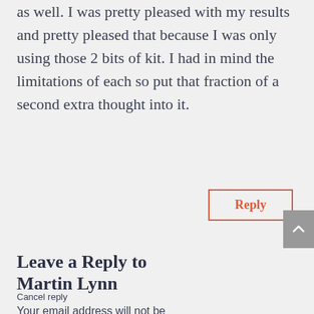as well. I was pretty pleased with my results and pretty pleased that because I was only using those 2 bits of kit. I had in mind the limitations of each so put that fraction of a second extra thought into it.
Reply
Leave a Reply to Martin Lynn
Cancel reply
Your email address will not be